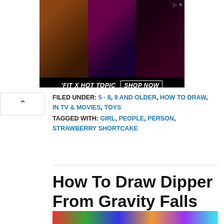[Figure (photo): Advertisement banner for 'FIT X HOT TOPIC' showing three photos of performers/models in dark clothing with a 'SHOP NOW' button]
FILED UNDER: 5 - 8, 8 AND OLDER, HOW TO DRAW, IN TV & MOVIES, TOYS
TAGGED WITH: GIRL, PEOPLE, PERSON, STRAWBERRY SHORTCAKE
How To Draw Dipper From Gravity Falls
[Figure (photo): Thumbnail strip showing preview images of drawing tutorial steps]